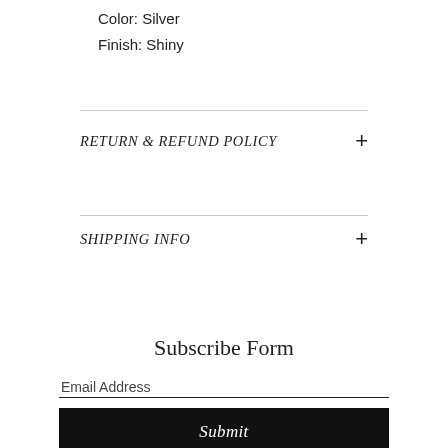Color: Silver
Finish: Shiny
RETURN & REFUND POLICY
SHIPPING INFO
Subscribe Form
Email Address
Submit